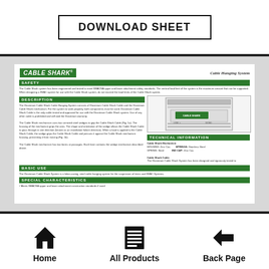DOWNLOAD SHEET
[Figure (screenshot): Cable Shark Cable Hanging System product data sheet showing logo, safety section, description section with product diagram, basic use, special characteristics, and technical information sections]
Home
All Products
Back Page